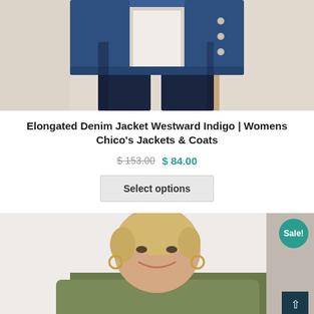[Figure (photo): Woman wearing an elongated denim jacket (Westward Indigo) with dark jeans, shown from shoulders to knees against a light beige/neutral background]
Elongated Denim Jacket Westward Indigo | Womens Chico’s Jackets & Coats
$ 153.00 $ 84.00
Select options
[Figure (photo): Smiling older blonde woman with short hair and hoop earrings, wearing a green/olive top, photographed against a light background. Sale badge visible in top-right corner.]